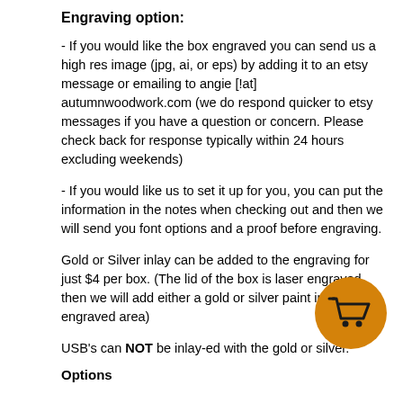Engraving option:
- If you would like the box engraved you can send us a high res image (jpg, ai, or eps) by adding it to an etsy message or emailing to angie [!at] autumnwoodwork.com (we do respond quicker to etsy messages if you have a question or concern. Please check back for response typically within 24 hours excluding weekends)
- If you would like us to set it up for you, you can put the information in the notes when checking out and then we will send you font options and a proof before engraving.
Gold or Silver inlay can be added to the engraving for just $4 per box. (The lid of the box is laser engraved then we will add either a gold or silver paint into the engraved area)
USB's can NOT be inlay-ed with the gold or silver.
Options